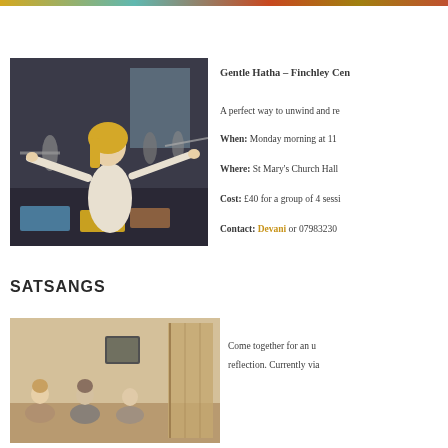[Figure (photo): People doing yoga in a studio, woman in foreground with arms extended]
Gentle Hatha – Finchley Cen...
A perfect way to unwind and re...
When: Monday morning at  11...
Where: St Mary's Church Hall...
Cost: £40 for a group of 4 sessi...
Contact: Devani  or 07983230...
SATSANGS
[Figure (photo): People sitting together indoors for a satsang gathering]
Come together for an u... reflection. Currently via...